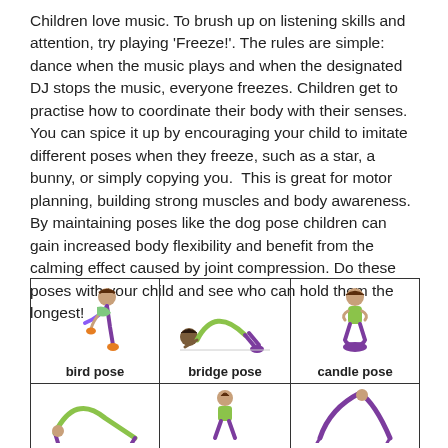Children love music. To brush up on listening skills and attention, try playing 'Freeze!'. The rules are simple: dance when the music plays and when the designated DJ stops the music, everyone freezes. Children get to practise how to coordinate their body with their senses. You can spice it up by encouraging your child to imitate different poses when they freeze, such as a star, a bunny, or simply copying you.  This is great for motor planning, building strong muscles and body awareness. By maintaining poses like the dog pose children can gain increased body flexibility and benefit from the calming effect caused by joint compression. Do these poses with your child and see who can hold them the longest!
[Figure (illustration): A 2-row, 3-column table of yoga pose illustrations for children. Top row shows: bird pose (child bending forward), bridge pose (child arching back on floor), candle pose (child kneeling). Bottom row shows partial illustrations of more poses.]